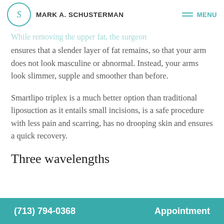MARK A. SCHUSTERMAN | MENU
While removing the upper fat, the surgeon ensures that a slender layer of fat remains, so that your arm does not look masculine or abnormal. Instead, your arms look slimmer, supple and smoother than before.
Smartlipo triplex is a much better option than traditional liposuction as it entails small incisions, is a safe procedure with less pain and scarring, has no drooping skin and ensures a quick recovery.
Three wavelengths
(713) 794-0368   Appointment